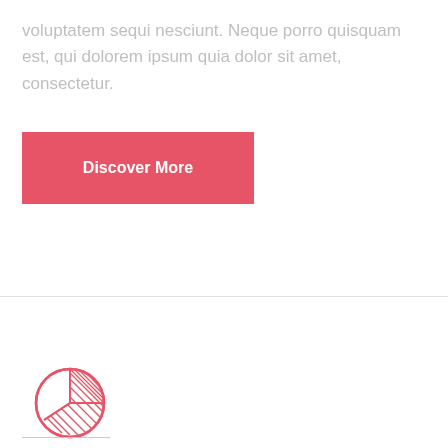voluptatem sequi nesciunt. Neque porro quisquam est, qui dolorem ipsum quia dolor sit amet, consectetur.
[Figure (illustration): Red/coral colored button with text 'Discover More' in bold white]
[Figure (logo): Circular pie-chart style logo with red outline and diagonal hatching on the right segment, partial circle on left]